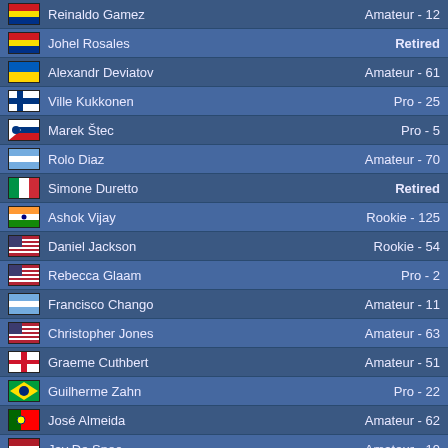| Flag | Name | Status |
| --- | --- | --- |
| Venezuela | Reinaldo Gamez | Amateur - 12 |
| Venezuela | Johel Rosales | Retired |
| Ukraine | Alexandr Deviatov | Amateur - 61 |
| Finland | Ville Kukkonen | Pro - 25 |
| Slovakia | Marek Štec | Pro - 5 |
| Argentina | Rolo Diaz | Amateur - 70 |
| Italy | Simone Duretto | Retired |
| India | Ashok Vijay | Rookie - 125 |
| USA | Daniel Jackson | Rookie - 54 |
| USA | Rebecca Glaam | Pro - 2 |
| Argentina | Francisco Chango | Amateur - 11 |
| USA | Christopher Jones | Amateur - 63 |
| England | Graeme Cuthbert | Amateur - 51 |
| Brazil | Guilherme Zahn | Pro - 22 |
| Portugal | José Almeida | Amateur - 62 |
| Netherlands | Jay De Snoo | Amateur - 19 |
Página [1] 2 3 ... 66 67 68 »
This website uses cookies to ensure you get the best experience. More info
© Grand Prix Racing Onl...
Got it!
Termos de Serviço | Polit...